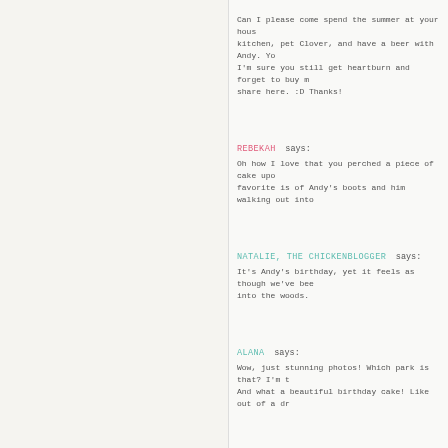Can I please come spend the summer at your house... kitchen, pet Clover, and have a beer with Andy. You... I'm sure you still get heartburn and forget to buy mu... share here. :D Thanks!
REBEKAH says: Oh how I love that you perched a piece of cake upo... favorite is of Andy's boots and him walking out into...
NATALIE, THE CHICKENBLOGGER says: It's Andy's birthday, yet it feels as though we've bee... into the woods.
ALANA says: Wow, just stunning photos! Which park is that? I'm ... And what a beautiful birthday cake! Like out of a dr...
ANNA says: That Cake!! It all looks like you had an enchanted w...